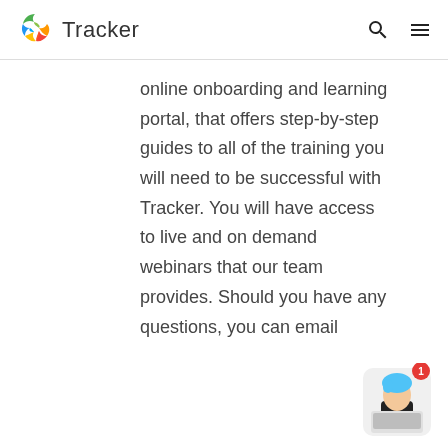Tracker
online onboarding and learning portal, that offers step-by-step guides to all of the training you will need to be successful with Tracker. You will have access to live and on demand webinars that our team provides. Should you have any questions, you can email
[Figure (illustration): Customer support chat widget in bottom-right corner showing a character with blue hair and a notification badge showing 1]